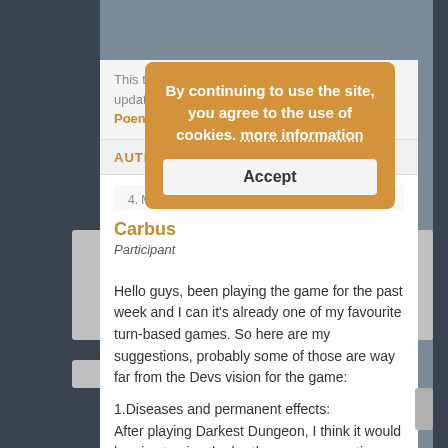This topic has 1 reply, has 3 voices, and was last updated 7 years, 3 months ago by PoenBattle
AUTHOR
4. MAY 2015 AT 03:49   #2887
Carbus
Participant
Hello guys, been playing the game for the past week and I can it's already one of my favourite turn-based games. So here are my suggestions, probably some of those are way far from the Devs vision for the game:
1.Diseases and permanent effects:
After playing Darkest Dungeon, I think it would be nice to give the brothers some negative buffs, like diseases (Pox,
[Figure (screenshot): Cookie consent overlay with orange background reading: 'By continuing to use the site, you agree to the use of cookies. more information' with an Accept button]